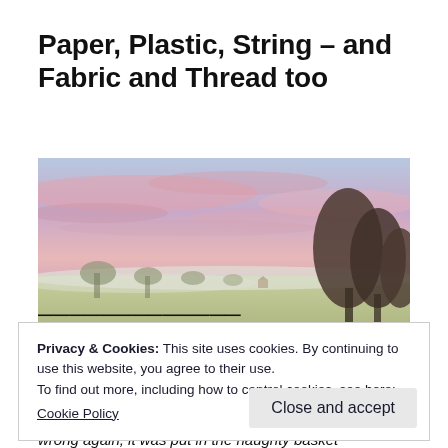Paper, Plastic, String – and Fabric and Thread too
[Figure (photo): Panoramic landscape photo of a rural scene at dusk/dawn with a pink and purple sky, misty green fields, scattered trees, and darker trees silhouetted on the right.]
Privacy & Cookies: This site uses cookies. By continuing to use this website, you agree to their use.
To find out more, including how to control cookies, see here:
Cookie Policy
Close and accept
wrong again, it was put in the naughty basket